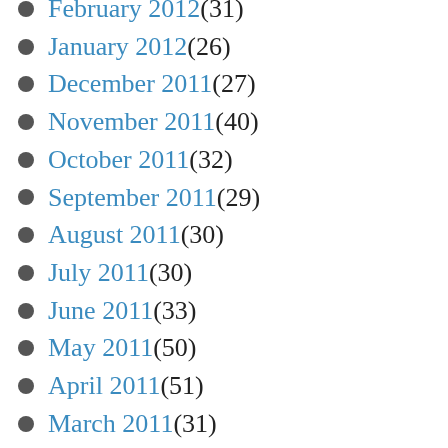January 2012 (26)
December 2011 (27)
November 2011 (40)
October 2011 (32)
September 2011 (29)
August 2011 (30)
July 2011 (30)
June 2011 (33)
May 2011 (50)
April 2011 (51)
March 2011 (31)
February 2011 (38)
January 2011 (36)
December 2010 (35)
November 2010 (77)
October 2010 (73)